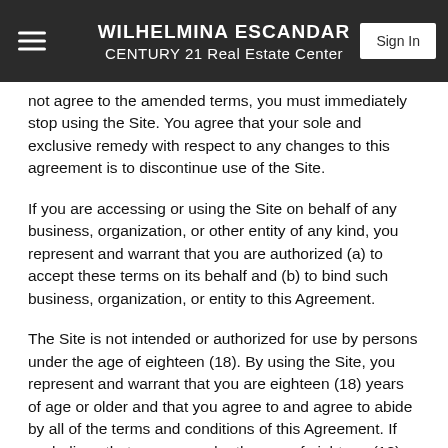WILHELMINA ESCANDAR
CENTURY 21 Real Estate Center
not agree to the amended terms, you must immediately stop using the Site. You agree that your sole and exclusive remedy with respect to any changes to this agreement is to discontinue use of the Site.
If you are accessing or using the Site on behalf of any business, organization, or other entity of any kind, you represent and warrant that you are authorized (a) to accept these terms on its behalf and (b) to bind such business, organization, or entity to this Agreement.
The Site is not intended or authorized for use by persons under the age of eighteen (18). By using the Site, you represent and warrant that you are eighteen (18) years of age or older and that you agree to and agree to abide by all of the terms and conditions of this Agreement. If we believe that you are under the age of eighteen (18) or that you are not old enough to consent to and be legally bound by this Agreement, we may, at any time, in our sole discretion, and with or without